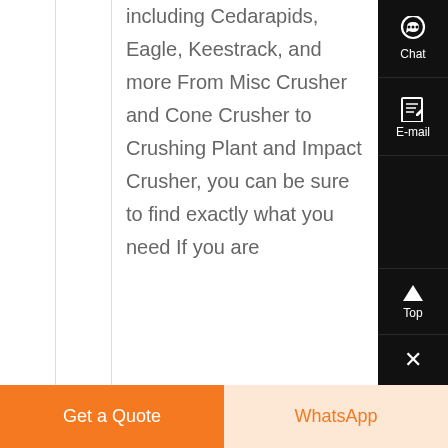including Cedarapids, Eagle, Keestrack, and more From Misc Crusher and Cone Crusher to Crushing Plant and Impact Crusher, you can be sure to find exactly what you need If you are
[Figure (other): Right sidebar with dark background containing Chat icon (headphones), E-mail icon (document), Top arrow button, and close X button]
Get a Quote
WhatsApp